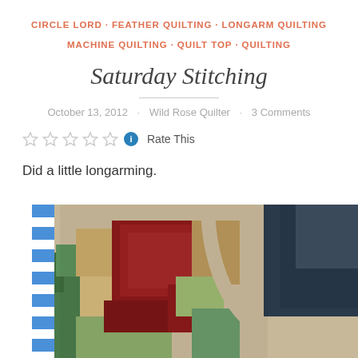CIRCLE LORD · FEATHER QUILTING · LONGARM QUILTING · MACHINE QUILTING · QUILT TOP · QUILTING
Saturday Stitching
October 13, 2012 · Wild Rose Quilter · 3 Comments
Rate This
Did a little longarming.
[Figure (photo): Photo of a colorful log-cabin quilt being loaded on a longarm quilting machine, with a blue-and-white striped tube/roller visible, fabric in red, green, gold, and tan patchwork pattern, and dark jeans/denim visible in background.]